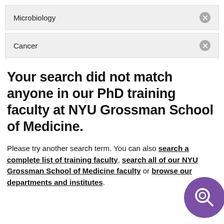Microbiology
Cancer
Your search did not match anyone in our PhD training faculty at NYU Grossman School of Medicine.
Please try another search term. You can also search a complete list of training faculty, search all of our NYU Grossman School of Medicine faculty or browse our departments and institutes.